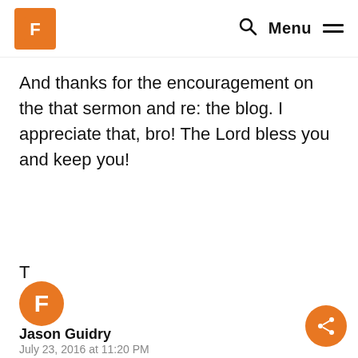F [logo] Q Menu ≡
And thanks for the encouragement on the that sermon and re: the blog. I appreciate that, bro! The Lord bless you and keep you!
T
[Figure (logo): Orange circular avatar with F logo for Jason Guidry comment]
Jason Guidry
July 23, 2016 at 11:20 PM